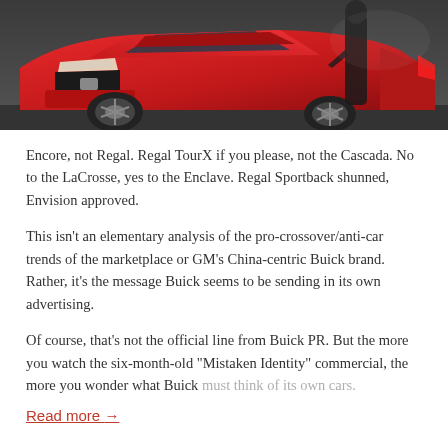[Figure (photo): A red Buick car (Regal) in a showroom or studio setting, with a person partially visible standing beside it. The car is viewed from the front-right angle, showing its sporty front end and alloy wheels.]
Encore, not Regal. Regal TourX if you please, not the Cascada. No to the LaCrosse, yes to the Enclave. Regal Sportback shunned, Envision approved.
This isn’t an elementary analysis of the pro-crossover/anti-car trends of the marketplace or GM’s China-centric Buick brand. Rather, it’s the message Buick seems to be sending in its own advertising.
Of course, that’s not the official line from Buick PR. But the more you watch the six-month-old “Mistaken Identity” commercial, the more you wonder what Buick must think of its own cars.
Read more →